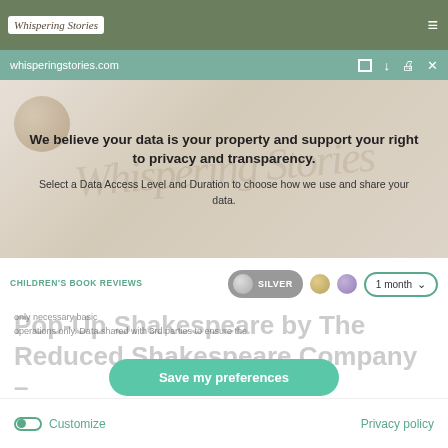whispering stories | whisperingstories.com
We believe your data is your property and support your right to privacy and transparency.
Select a Data Access Level and Duration to choose how we use and share your data.
CHILDREN'S BOOK REVIEWS
SILVER
1 month
Pop-Up Shakespeare by The Reduced Shakespeare Company – Book Review
PUBLISHED 28/11/2017 · UPDATED 28/11/2017
operations only. Data shared with 3rd parties to ensure the
Save my preferences
Customize    Privacy policy